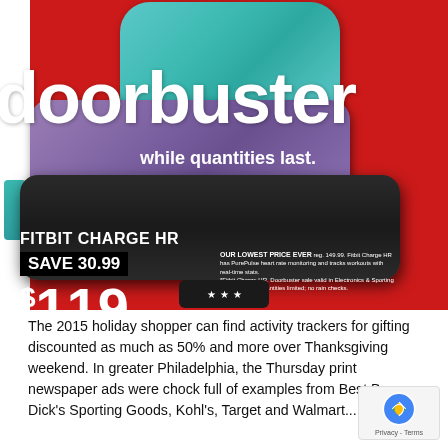[Figure (photo): Target Black Friday doorbuster advertisement for Fitbit Charge HR, showing three fitness tracker bands (teal, purple/mauve, black) on a red background. Text reads 'doorbuster while quantities last. FITBIT CHARGE HR SAVE 30.99 $119 OUR LOWEST PRICE EVER reg. 149.99. Fitbit Charge HR has PurePulse heart rate monitoring and tracks workouts with real-time stats.']
The 2015 holiday shopper can find activity trackers for gifting discounted as much as 50% and more over Thanksgiving weekend. In greater Philadelphia, the Thursday print newspaper ads were chock full of examples from Best Buy, Dick's Sporting Goods, Kohl's, Target and Walmart...